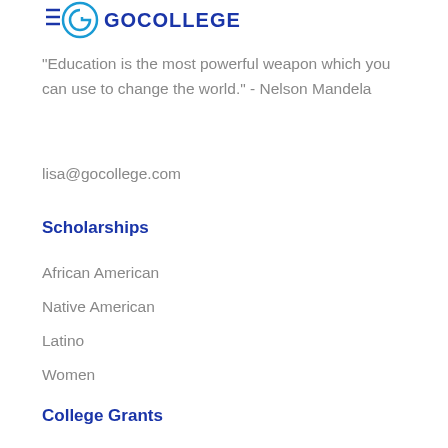[Figure (logo): GoCollege logo with stylized G icon in blue/teal and GOCOLLEGE text in blue]
"Education is the most powerful weapon which you can use to change the world." - Nelson Mandela
lisa@gocollege.com
Scholarships
African American
Native American
Latino
Women
College Grants
Federal
Minorities
Need